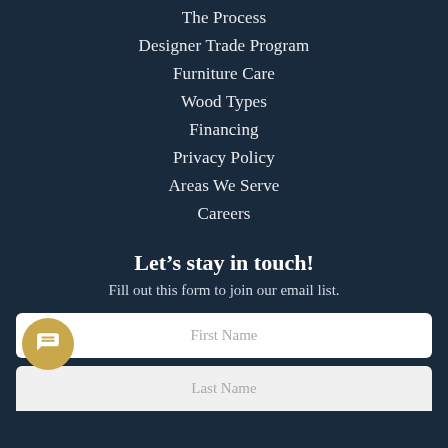The Process
Designer Trade Program
Furniture Care
Wood Types
Financing
Privacy Policy
Areas We Serve
Careers
Let’s stay in touch!
Fill out this form to join our email list.
First Name
Last Name